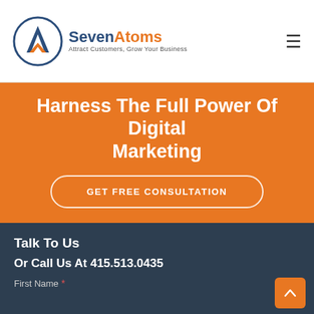[Figure (logo): SevenAtoms logo with circular icon containing an A and arrow motif, with tagline 'Attract Customers, Grow Your Business']
Harness The Full Power Of Digital Marketing
GET FREE CONSULTATION
Talk To Us
Or Call Us At 415.513.0435
First Name *